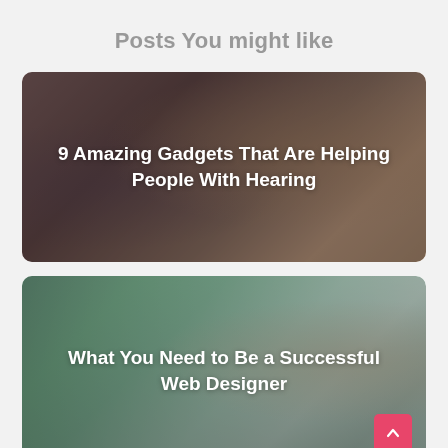Posts You might like
[Figure (photo): Photo of a person adjusting a hearing aid on another person's ear, used as card background for article about hearing gadgets]
9 Amazing Gadgets That Are Helping People With Hearing
[Figure (photo): Photo of a person looking at web design wireframes/flowcharts on paper, used as card background for article about web design]
What You Need to Be a Successful Web Designer